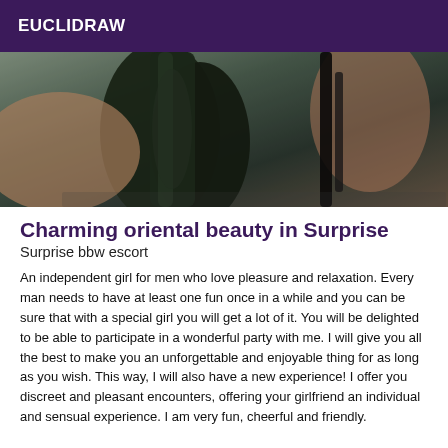EUCLIDRAW
[Figure (photo): Close-up photo showing partial view of a person, dark background with clothing visible]
Charming oriental beauty in Surprise
Surprise bbw escort
An independent girl for men who love pleasure and relaxation. Every man needs to have at least one fun once in a while and you can be sure that with a special girl you will get a lot of it. You will be delighted to be able to participate in a wonderful party with me. I will give you all the best to make you an unforgettable and enjoyable thing for as long as you wish. This way, I will also have a new experience! I offer you discreet and pleasant encounters, offering your girlfriend an individual and sensual experience. I am very fun, cheerful and friendly.